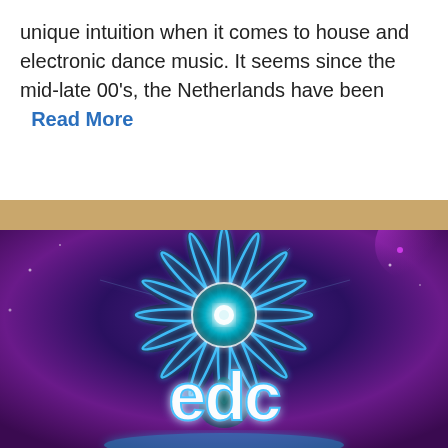unique intuition when it comes to house and electronic dance music. It seems since the mid-late 00's, the Netherlands have been   Read More
[Figure (illustration): EDC (Electric Daisy Carnival) promotional image featuring a glowing blue neon daisy flower logo against a purple/blue galaxy background, with the EDC logo text in white at the bottom.]